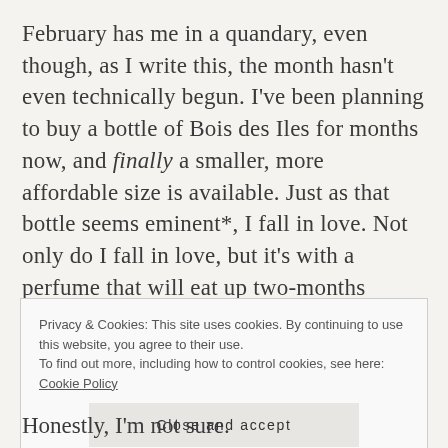February has me in a quandary, even though, as I write this, the month hasn't even technically begun. I've been planning to buy a bottle of Bois des Iles for months now, and finally a smaller, more affordable size is available. Just as that bottle seems eminent*, I fall in love. Not only do I fall in love, but it's with a perfume that will eat up two-months worth of perfume budget.
Privacy & Cookies: This site uses cookies. By continuing to use this website, you agree to their use.
To find out more, including how to control cookies, see here: Cookie Policy
Close and accept
Honestly, I'm not sure.